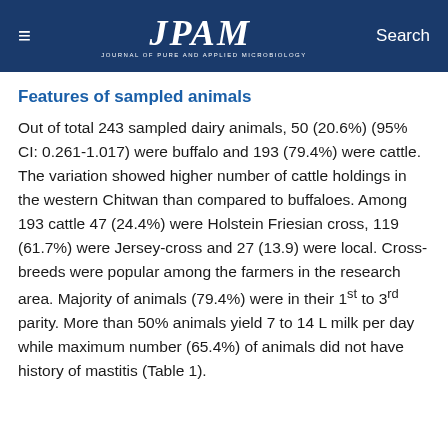≡  JPAM  Search
Features of sampled animals
Out of total 243 sampled dairy animals, 50 (20.6%) (95% CI: 0.261-1.017) were buffalo and 193 (79.4%) were cattle. The variation showed higher number of cattle holdings in the western Chitwan than compared to buffaloes. Among 193 cattle 47 (24.4%) were Holstein Friesian cross, 119 (61.7%) were Jersey-cross and 27 (13.9) were local. Cross-breeds were popular among the farmers in the research area. Majority of animals (79.4%) were in their 1st to 3rd parity. More than 50% animals yield 7 to 14 L milk per day while maximum number (65.4%) of animals did not have history of mastitis (Table 1).